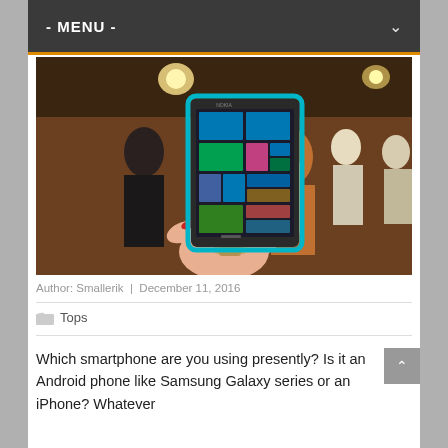- MENU -
[Figure (photo): A hand holding a Nokia Windows Phone (Lumia) with tiled interface visible, in a cafe/restaurant background with people socializing]
Author: Smallerik  |  December 11, 2016
Tops
Which smartphone are you using presently? Is it an Android phone like Samsung Galaxy series or an iPhone? Whatever